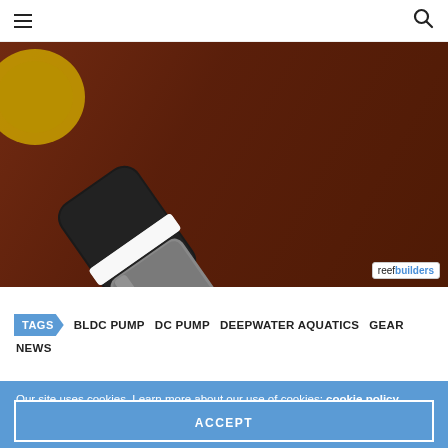Navigation bar with hamburger menu and search icon
[Figure (photo): Close-up photo of a BLDC/DC pump component — a cylindrical metallic rotor/shaft assembly with a white ceramic or plastic shaft tip, black body, and white band, lying on a dark brown wooden surface. Reefbuilders watermark badge in bottom right corner.]
TAGS  BLDC PUMP  DC PUMP  DEEPWATER AQUATICS  GEAR  NEWS
Our site uses cookies. Learn more about our use of cookies: cookie policy
ACCEPT